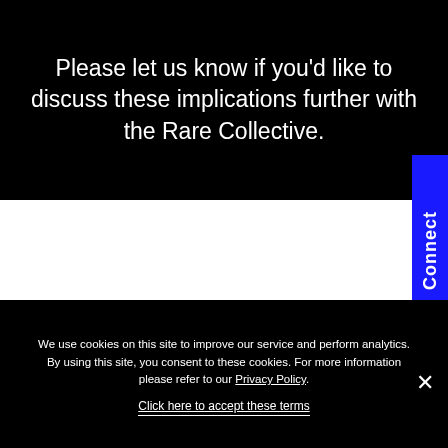Please let us know if you’d like to discuss these implications further with the Rare Collective.
[Figure (photo): Partial top-of-head photo of a person against a dark olive/brown background, visible in the lower middle section of the page]
We use cookies on this site to improve our service and perform analytics. By using this site, you consent to these cookies. For more information please refer to our Privacy Policy.
Click here to accept these terms